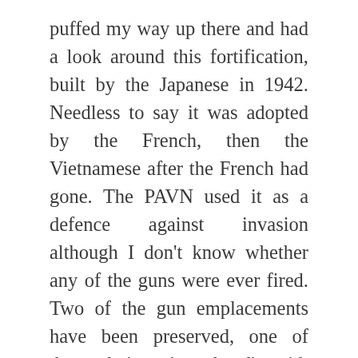puffed my way up there and had a look around this fortification, built by the Japanese in 1942. Needless to say it was adopted by the French, then the Vietnamese after the French had gone. The PAVN used it as a defence against invasion although I don't know whether any of the guns were ever fired. Two of the gun emplacements have been preserved, one of them being 'populated' with mannequins dressed in PAVN uniform. There was a signed path, which walked me through the displays of buildings, trenches and the odd tunnel. Perhaps the best feature of the fort is the views. At 177 metres high, there's a terrific view across the island and, more especially, out across the bay. Cat Ba is the largest of a